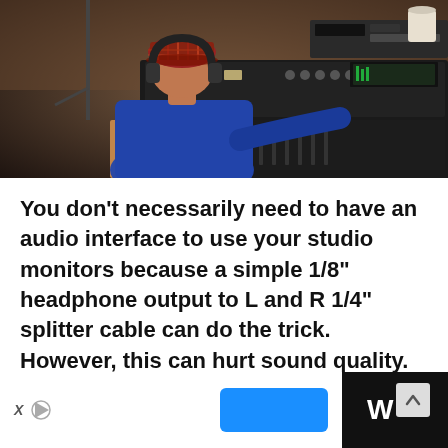[Figure (photo): Person wearing headphones and a plaid cap seen from behind, sitting at a large mixing console/audio board in a recording studio]
You don't necessarily need to have an audio interface to use your studio monitors because a simple 1/8" headphone output to L and R 1/4" splitter cable can do the trick. However, this can hurt sound quality. Ideally, you should connect your computer to your studio monitors via an audio interface.